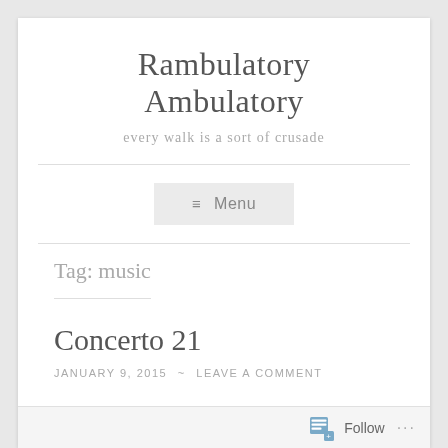Rambulatory Ambulatory
every walk is a sort of crusade
≡ Menu
Tag: music
Concerto 21
JANUARY 9, 2015 ~ LEAVE A COMMENT
Follow ...